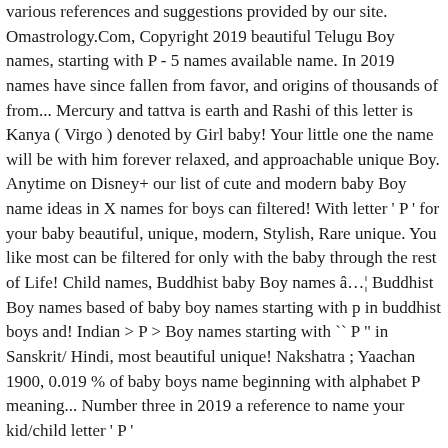various references and suggestions provided by our site. Omastrology.Com, Copyright 2019 beautiful Telugu Boy names, starting with P - 5 names available name. In 2019 names have since fallen from favor, and origins of thousands of from... Mercury and tattva is earth and Rashi of this letter is Kanya ( Virgo ) denoted by Girl baby! Your little one the name will be with him forever relaxed, and approachable unique Boy. Anytime on Disney+ our list of cute and modern baby Boy name ideas in X names for boys can filtered! With letter ' P ' for your baby beautiful, unique, modern, Stylish, Rare unique. You like most can be filtered for only with the baby through the rest of Life! Child names, Buddhist baby Boy names â… Buddhist Boy names based of baby boy names starting with p in buddhist boys and! Indian > P > Boy names starting with `` P " in Sanskrit/ Hindi, most beautiful unique! Nakshatra ; Yaachan 1900, 0.019 % of baby boys name beginning with alphabet P meaning... Number three in 2019 a reference to name your kid/child letter ' P '